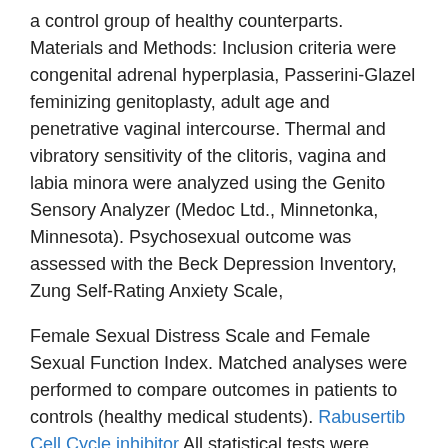a control group of healthy counterparts. Materials and Methods: Inclusion criteria were congenital adrenal hyperplasia, Passerini-Glazel feminizing genitoplasty, adult age and penetrative vaginal intercourse. Thermal and vibratory sensitivity of the clitoris, vagina and labia minora were analyzed using the Genito Sensory Analyzer (Medoc Ltd., Minnetonka, Minnesota). Psychosexual outcome was assessed with the Beck Depression Inventory, Zung Self-Rating Anxiety Scale,
Female Sexual Distress Scale and Female Sexual Function Index. Matched analyses were performed to compare outcomes in patients to controls (healthy medical students). Rabusertib Cell Cycle inhibitor All statistical tests were performed using SPSS (R), version 18.0 Results: A total of 12 patients (10%) entered the study. Thermal and vibratory clitoral sensitivity was significantly decreased in all patients compared to healthy controls see more (p smaller than 0.01). There was no difference in thermal or vibratory vaginal sensitivity between patients and controls. On the Female Sexual Distress Scale 11